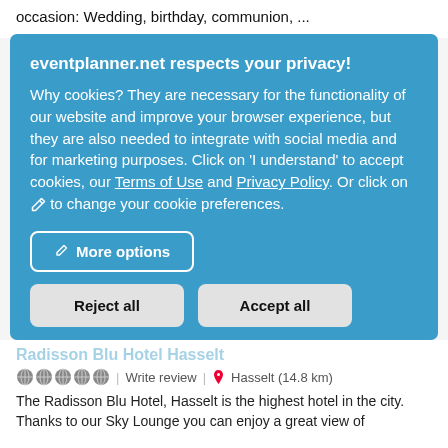occasion: Wedding, birthday, communion, ...
eventplanner.net respects your privacy!
Why cookies? They are necessary for the functionality of our website and improve your browser experience, but they are also needed to integrate with social media and for marketing purposes. Click on 'I understand' to accept cookies, our Terms of Use and Privacy Policy. Or click on ✏ to change your cookie preferences.
More options
Reject all
Accept all
Write review | Hasselt (14.8 km)
The Radisson Blu Hotel, Hasselt is the highest hotel in the city. Thanks to our Sky Lounge you can enjoy a great view of